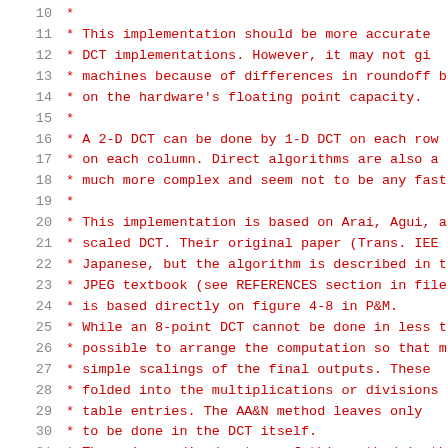Code listing lines 10-31, source code comment block about DCT implementation based on Arai, Agui, and Nakajima's scaled DCT algorithm.